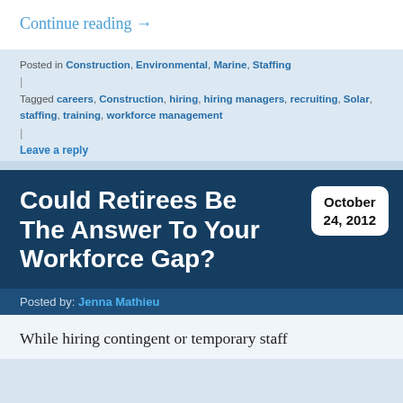Continue reading →
Posted in Construction, Environmental, Marine, Staffing | Tagged careers, Construction, hiring, hiring managers, recruiting, Solar, staffing, training, workforce management |
Leave a reply
Could Retirees Be The Answer To Your Workforce Gap?
October 24, 2012
Posted by: Jenna Mathieu
While hiring contingent or temporary staff